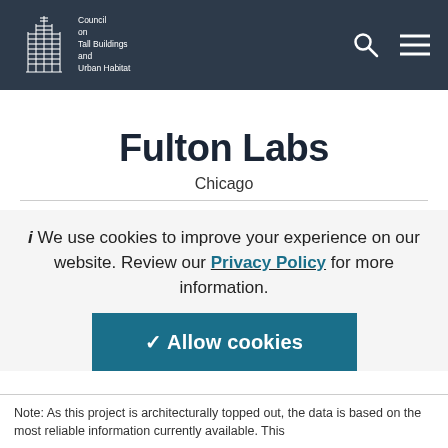Council on Tall Buildings and Urban Habitat
Fulton Labs
Chicago
We use cookies to improve your experience on our website. Review our Privacy Policy for more information. ✓ Allow cookies
Note: As this project is architecturally topped out, the data is based on the most reliable information currently available. This